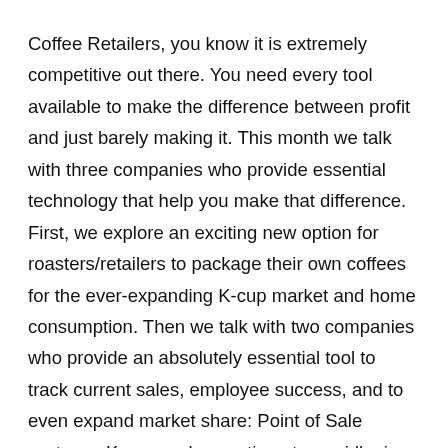Coffee Retailers, you know it is extremely competitive out there. You need every tool available to make the difference between profit and just barely making it. This month we talk with three companies who provide essential technology that help you make that difference. First, we explore an exciting new option for roasters/retailers to package their own coffees for the ever-expanding K-cup market and home consumption. Then we talk with two companies who provide an absolutely essential tool to track current sales, employee success, and to even expand market share: Point of Sale systems. K-cups sales continue to  rapidly rise as single-serve options become more and more popular with consumers. The K-cup system is an easy and fast solution for the modern, time-deprived consumer who isn't willing to devote extra time to learn how to prepare a good cup of coffee at home and/or wait in line in a shop. Up until now, consumers didn't have much of a choice as far as